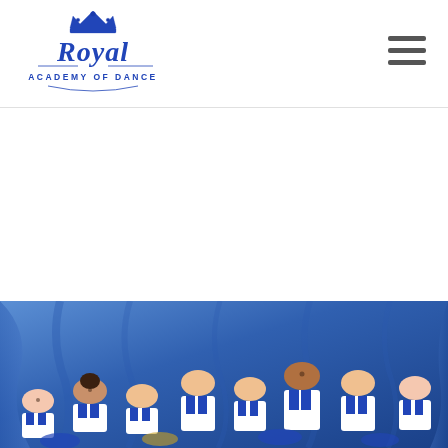[Figure (logo): Royal Academy of Dance logo — blue cursive 'Royal' text with a crown above, and 'ACADEMY OF DANCE' in block letters below]
[Figure (photo): Group photo of young girls in blue and white dance/cheer uniforms posing in front of a blue draped backdrop]